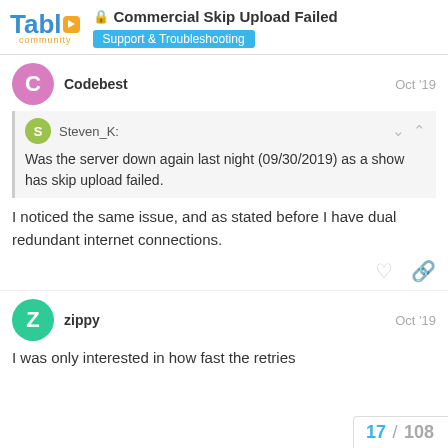Commercial Skip Upload Failed | Support & Troubleshooting
Codebest  Oct '19
Steven_K:
Was the server down again last night (09/30/2019) as a show has skip upload failed.
I noticed the same issue, and as stated before I have dual redundant internet connections.
zippy  Oct '19
I was only interested in how fast the retries
17 / 108